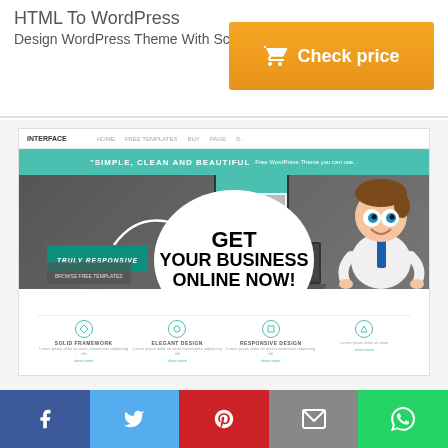HTML To WordPress
Design WordPress Theme With Scratch
[Figure (infographic): Orange 'Check price' button with shopping cart icon]
[Figure (screenshot): Website preview screenshot showing a WordPress theme demo with 'INTERFACE' navigation, teal hero banner reading 'SIMPLE, CLEAN AND BEAUTIFUL', dark hero image with arrow, 'TRULY RESPONSIVE' overlay, phone and laptop mockups, a white circle overlay with text 'GET YOUR BUSINESS ONLINE NOW!', a cartoon businessman character, and a features row with 'SOLID FRAMEWORK', 'ELEGANT DESIGN', 'RESPONSIVE DESIGN' sections]
[Figure (infographic): Social sharing bar with Facebook (blue), Twitter (light blue), Pinterest (red), Email (grey), and WhatsApp (green) buttons with icons]